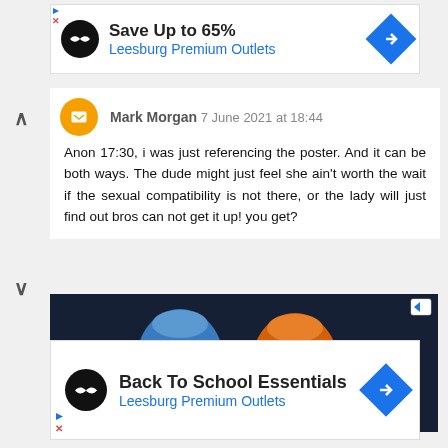[Figure (screenshot): Advertisement banner: Save Up to 65% Leesburg Premium Outlets with black infinity logo and blue diamond arrow]
Mark Morgan 7 June 2021 at 18:44
Anon 17:30, i was just referencing the poster. And it can be both ways. The dude might just feel she ain't worth the wait if the sexual compatibility is not there, or the lady will just find out bros can not get it up! you get?
[Figure (photo): Advertisement showing two Simba chip bags on dark background]
[Figure (screenshot): Advertisement banner: Back To School Essentials Leesburg Premium Outlets with black infinity logo and blue diamond arrow]